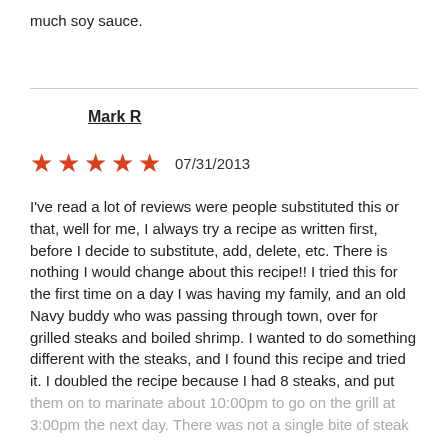much soy sauce.
Mark R
★★★★★  07/31/2013
I've read a lot of reviews were people substituted this or that, well for me, I always try a recipe as written first, before I decide to substitute, add, delete, etc. There is nothing I would change about this recipe!! I tried this for the first time on a day I was having my family, and an old Navy buddy who was passing through town, over for grilled steaks and boiled shrimp. I wanted to do something different with the steaks, and I found this recipe and tried it. I doubled the recipe because I had 8 steaks, and put them on to marinate about 10:00pm to go on the grill at 3:00pm the next day. There was not a single bite of steak